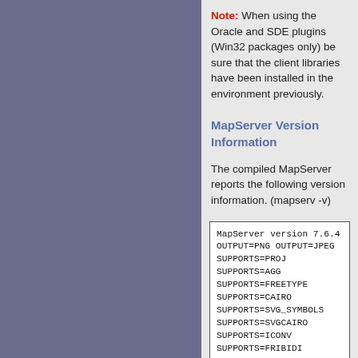Note: When using the Oracle and SDE plugins (Win32 packages only) be sure that the client libraries have been installed in the environment previously.
MapServer Version Information
The compiled MapServer reports the following version information. (mapserv -v)
MapServer version 7.6.4
OUTPUT=PNG OUTPUT=JPEG
SUPPORTS=PROJ
SUPPORTS=AGG
SUPPORTS=FREETYPE
SUPPORTS=CAIRO
SUPPORTS=SVG_SYMBOLS
SUPPORTS=SVGCAIRO
SUPPORTS=ICONV
SUPPORTS=FRIBIDI
SUPPORTS=WMS_SERVER
SUPPORTS=WMS_CLIENT
SUPPORTS=WFS_SERVER